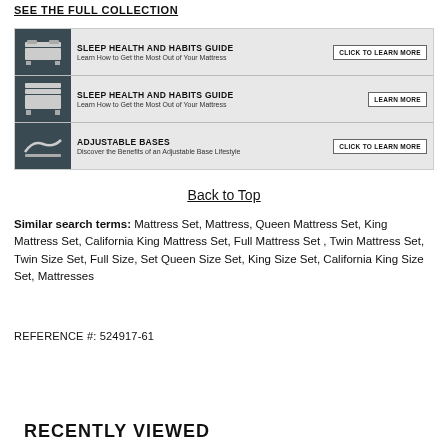SEE THE FULL COLLECTION
[Figure (infographic): Promotional banner with three rows: 'Sleep Health and Habits Guide' (two variants) and 'Adjustable Bases', each with bed/base icons, descriptive text, and call-to-action buttons.]
Back to Top
Similar search terms: Mattress Set, Mattress, Queen Mattress Set, King Mattress Set, California King Mattress Set, Full Mattress Set , Twin Mattress Set, Twin Size Set, Full Size, Set Queen Size Set, King Size Set, California King Size Set, Mattresses
REFERENCE #: 524917-61
RECENTLY VIEWED